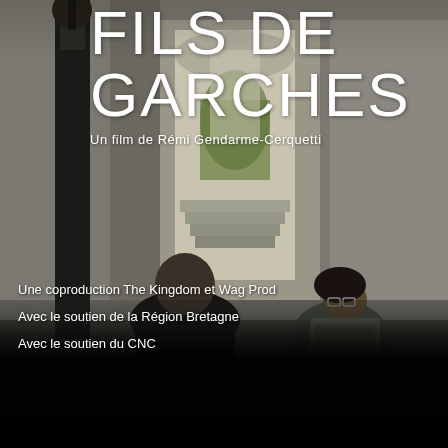[Figure (photo): Movie poster for 'Fils de Garches'. Background shows a stone building corridor/arcade with steps. In the foreground, a bald man in dark clothing is seen from behind. To the right sits a man with glasses and curly hair in a wheelchair, wearing a patterned jacket. A dark vertical object (instrument) is visible on the left. The bottom section is dark.]
FILS DE GARCHES
Un film de Rémi Gendarme-Cerquetti
Une coproduction The Kingdom et Wag Prod
Avec le soutien de la Région Bretagne
Avec le soutien du CNC